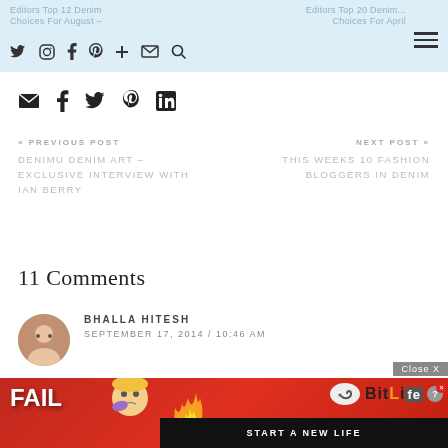Editors Top 12 Denim Choices For August - and Editors Top 20 Denim Choices For April
Social share icons: email, facebook, twitter, pinterest, linkedin
« PREVIOUS POST
DENIMU DENIM ART – EXCLUSIVE INTERVIEW WITH IAN BERRY
NEXT POST »
THIS WEEKS 10 FASHION BLOGGERS IN DENIM
11 Comments
BHALLA HITESH
SEPTEMBER 17, 2014 / 10:46 AM
Lorna, I must appreciate the effort you have put in to make this blogs. Yes, Denim shirts are always impressive and you have actually put forth a fi... and more from you
[Figure (screenshot): BitLife advertisement overlay with Close X button, FAIL text, cartoon character, fire animation, BitLife logo with question mark, and START A NEW LIFE button on dark background]